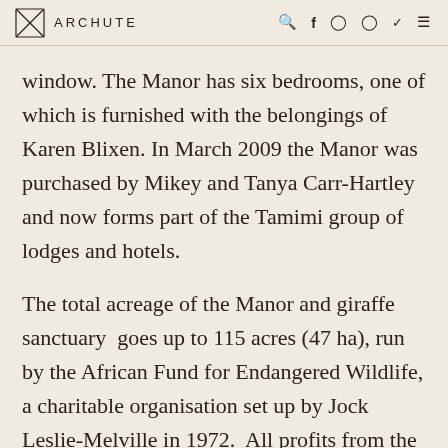ARCHUTE
window. The Manor has six bedrooms, one of which is furnished with the belongings of Karen Blixen. In March 2009 the Manor was purchased by Mikey and Tanya Carr-Hartley and now forms part of the Tamimi group of lodges and hotels.
The total acreage of the Manor and giraffe sanctuary  goes up to 115 acres (47 ha), run by the African Fund for Endangered Wildlife, a charitable organisation set up by Jock Leslie-Melville in 1972.  All profits from the hotel go to